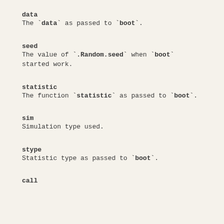data
The `data` as passed to `boot`.
seed
The value of `.Random.seed` when `boot` started work.
statistic
The function `statistic` as passed to `boot`.
sim
Simulation type used.
stype
Statistic type as passed to `boot`.
call